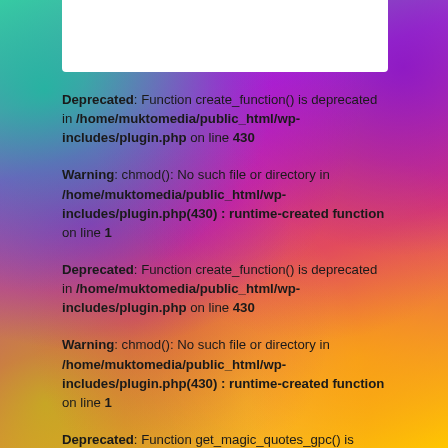[Figure (screenshot): White box at top of page, partially visible, colorful psychedelic background]
Deprecated: Function create_function() is deprecated in /home/muktomedia/public_html/wp-includes/plugin.php on line 430
Warning: chmod(): No such file or directory in /home/muktomedia/public_html/wp-includes/plugin.php(430) : runtime-created function on line 1
Deprecated: Function create_function() is deprecated in /home/muktomedia/public_html/wp-includes/plugin.php on line 430
Warning: chmod(): No such file or directory in /home/muktomedia/public_html/wp-includes/plugin.php(430) : runtime-created function on line 1
Deprecated: Function get_magic_quotes_gpc() is deprecated in /home/muktomedia/public_html/wp-includes/formatting...